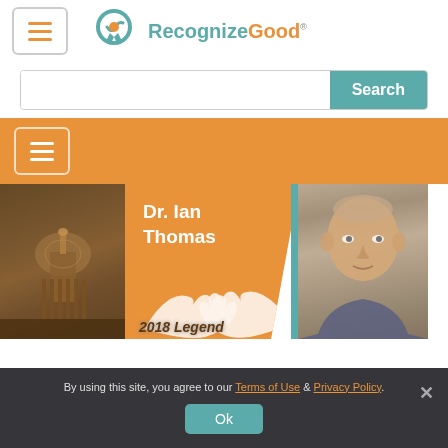[Figure (logo): RecognizeGood logo with teal ribbon/badge icon, teal text 'Recognize' and orange text 'Good']
[Figure (screenshot): Search bar with teal 'Search' button]
[Figure (screenshot): Orange navigation bar with white hamburger menu icon]
[Figure (photo): Banner image with Texas Capitol building on left, orange center panel with text 'Dr. Ian Thomas', teal vertical stripe, and photo of an elderly man on the right]
By using this site, you agree to our Terms of Use & Privacy Policy.
Ok